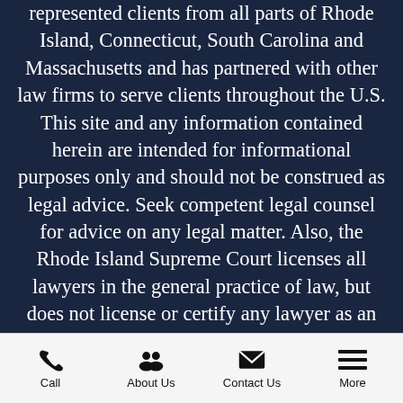represented clients from all parts of Rhode Island, Connecticut, South Carolina and Massachusetts and has partnered with other law firms to serve clients throughout the U.S. This site and any information contained herein are intended for informational purposes only and should not be construed as legal advice. Seek competent legal counsel for advice on any legal matter. Also, the Rhode Island Supreme Court licenses all lawyers in the general practice of law, but does not license or certify any lawyer as an expert or specialist in any field of practice.  The verdicts and settlements listed
Call | About Us | Contact Us | More